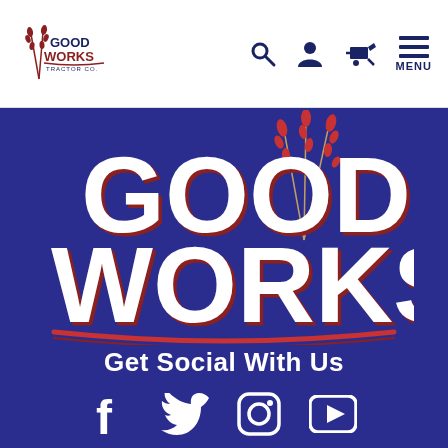[Figure (logo): Good Works Tractor Co. logo – small navigation bar logo with wheat/grass icon and stacked text]
[Figure (logo): Good Works large hero logo on dark blue background with wheat stalks decoration and red underline, text reads GOOD WORKS]
Get Social With Us
[Figure (infographic): Social media icons: Facebook, Twitter, Instagram, YouTube]